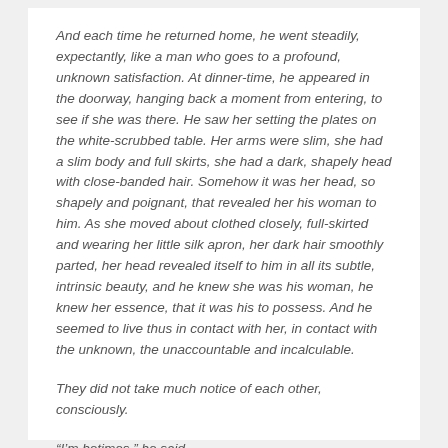And each time he returned home, he went steadily, expectantly, like a man who goes to a profound, unknown satisfaction. At dinner-time, he appeared in the doorway, hanging back a moment from entering, to see if she was there. He saw her setting the plates on the white-scrubbed table. Her arms were slim, she had a slim body and full skirts, she had a dark, shapely head with close-banded hair. Somehow it was her head, so shapely and poignant, that revealed her his woman to him. As she moved about clothed closely, full-skirted and wearing her little silk apron, her dark hair smoothly parted, her head revealed itself to him in all its subtle, intrinsic beauty, and he knew she was his woman, he knew her essence, that it was his to possess. And he seemed to live thus in contact with her, in contact with the unknown, the unaccountable and incalculable.
They did not take much notice of each other, consciously.
“I’m betimes,” he said.